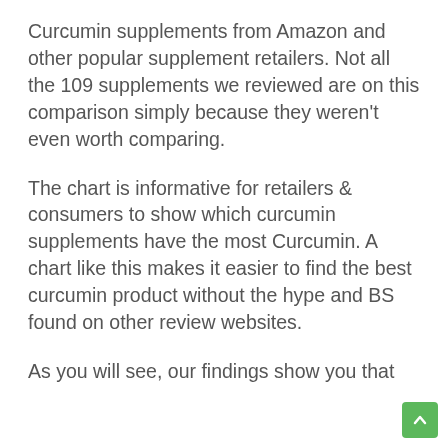Curcumin supplements from Amazon and other popular supplement retailers. Not all the 109 supplements we reviewed are on this comparison simply because they weren't even worth comparing.
The chart is informative for retailers & consumers to show which curcumin supplements have the most Curcumin. A chart like this makes it easier to find the best curcumin product without the hype and BS found on other review websites.
As you will see, our findings show you that